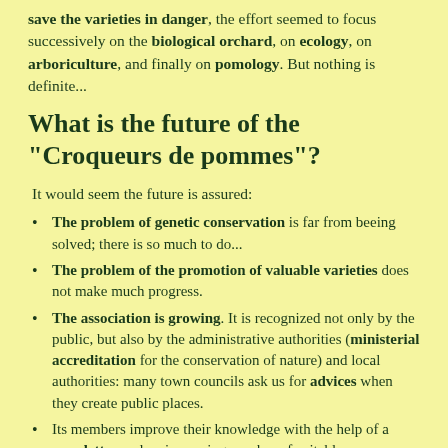save the varieties in danger, the effort seemed to focus successively on the biological orchard, on ecology, on arboriculture, and finally on pomology. But nothing is definite...
What is the future of the "Croqueurs de pommes"?
It would seem the future is assured:
The problem of genetic conservation is far from beeing solved; there is so much to do...
The problem of the promotion of valuable varieties does not make much progress.
The association is growing. It is recognized not only by the public, but also by the administrative authorities (ministerial accreditation for the conservation of nature) and local authorities: many town councils ask us for advices when they create public places.
Its members improve their knowledge with the help of a newsletter and an increasing number of suitable publications to support the rebirth of a forgotten pomological science.
However, some weakness cannot be underestimated, as it is the case with any association relying exclusively on voluntary work. There are always potential risks: ageing structures or ideas, ageing